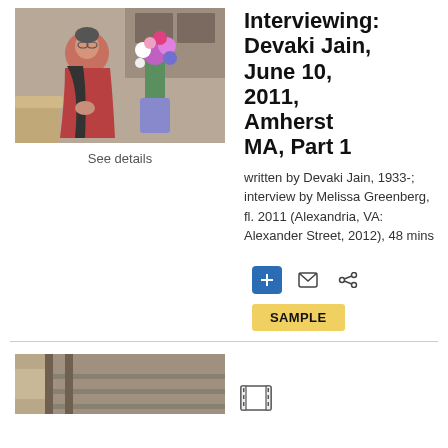[Figure (photo): Photo of elderly woman in red sari seated with flower arrangement in background]
See details
Interviewing: Devaki Jain, June 10, 2011, Amherst MA, Part 1
written by Devaki Jain, 1933-; interview by Melissa Greenberg, fl. 2011 (Alexandria, VA: Alexander Street, 2012), 48 mins
[Figure (photo): Partial photo at bottom of page showing interior scene]